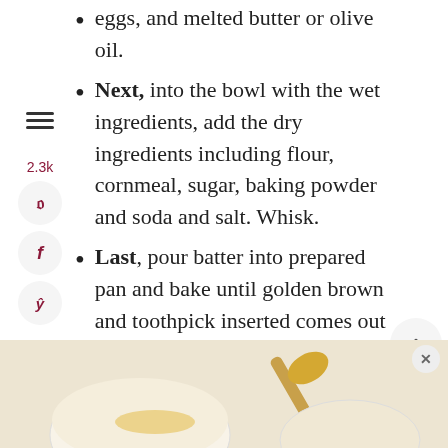eggs, and melted butter or olive oil.
Next, into the bowl with the wet ingredients, add the dry ingredients including flour, cornmeal, sugar, baking powder and soda and salt. Whisk.
Last, pour batter into prepared pan and bake until golden brown and toothpick inserted comes out clean.
Cut into wedges or squares and serve warm with butter and/or honey.
[Figure (photo): Bottom portion showing a honey dipper and bowl with honey or batter, partially visible at the bottom of the page]